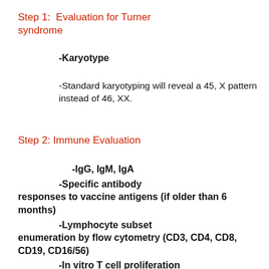Step 1:  Evaluation for Turner syndrome
-Karyotype
-Standard karyotyping will reveal a 45, X pattern instead of 46, XX.
Step 2: Immune Evaluation
-IgG, IgM, IgA
-Specific antibody responses to vaccine antigens (if older than 6 months)
-Lymphocyte subset enumeration by flow cytometry (CD3, CD4, CD8, CD19, CD16/56)
-In vitro T cell proliferation to mitogens (PHA, ConA, PWM)